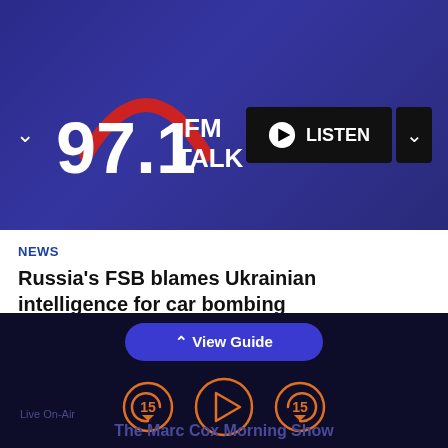[Figure (logo): 97.1 FM Talk radio station logo with red arch and white text]
NEWS
Russia's FSB blames Ukrainian intelligence for car bombing
#ImListening
Contact Us
Submit a Station
Submit a Podcast
Sitemap
Advertise with Us
Public Help File
View Guide
The Marc Cox Morning Show